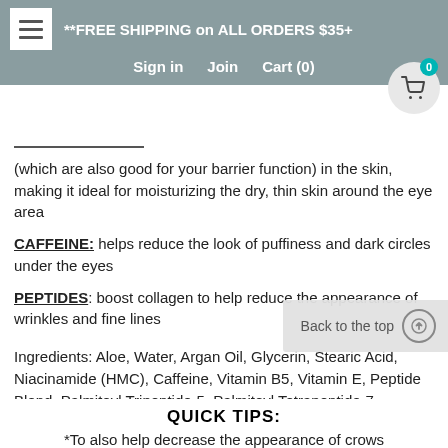**FREE SHIPPING on ALL ORDERS $35+  Sign in  Join  Cart (0)
(which are also good for your barrier function) in the skin, making it ideal for moisturizing the dry, thin skin around the eye area
CAFFEINE: helps reduce the look of puffiness and dark circles under the eyes
PEPTIDES: boost collagen to help reduce the appearance of wrinkles and fine lines
Ingredients: Aloe, Water, Argan Oil, Glycerin, Stearic Acid, Niacinamide (HMC), Caffeine, Vitamin B5, Vitamin E, Peptide Blend, Palmitoyl Tripeptide-5, Palmitoyl Tetrapeptide-7, Palmitoyl Tripeptide-1, Gotu Kola, Radish Root Natural Pre
QUICK TIPS:
*To also help decrease the appearance of crows